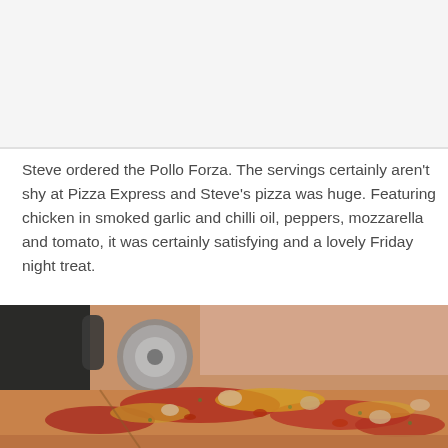[Figure (photo): Top portion of a previous page image, appearing as a light gray placeholder — cropped top of an image from the preceding page]
Steve ordered the Pollo Forza. The servings certainly aren't shy at Pizza Express and Steve's pizza was huge. Featuring chicken in smoked garlic and chilli oil, peppers, mozzarella and tomato, it was certainly satisfying and a lovely Friday night treat.
[Figure (photo): Close-up photograph of a pizza being cut with a pizza wheel/roller cutter. The pizza has tomato sauce, melted cheese, chunks of chicken, peppers and herbs visible. A hand holds the pizza cutter in the upper left. Warm orange, red and golden-brown tones.]